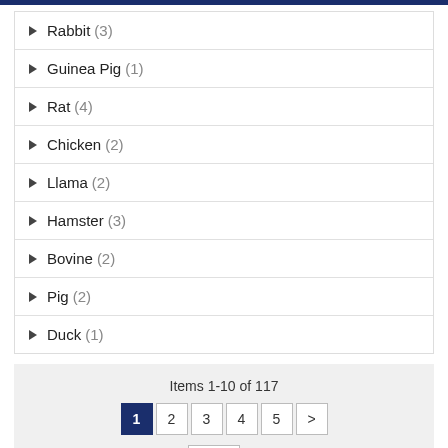Rabbit (3)
Guinea Pig (1)
Rat (4)
Chicken (2)
Llama (2)
Hamster (3)
Bovine (2)
Pig (2)
Duck (1)
Items 1-10 of 117
1 2 3 4 5 >
Show 10 per page